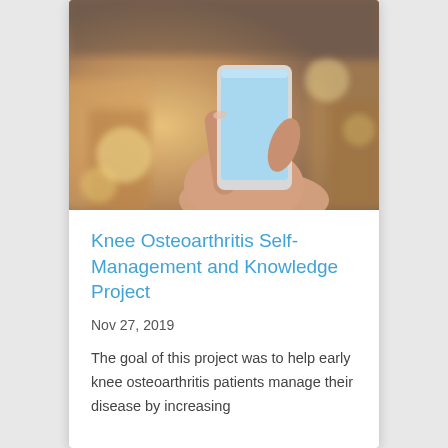[Figure (photo): A hand holding a smartphone with a blurred warm-toned background (bokeh lights and chairs).]
Knee Osteoarthritis Self-Management and Knowledge Project
Nov 27, 2019
The goal of this project was to help early knee osteoarthritis patients manage their disease by increasing